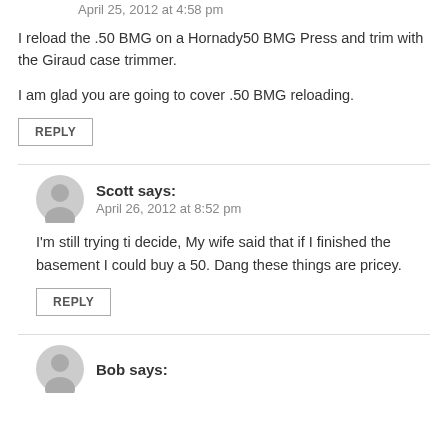April 25, 2012 at 4:58 pm
I reload the .50 BMG on a Hornady50 BMG Press and trim with the Giraud case trimmer.
I am glad you are going to cover .50 BMG reloading.
REPLY
Scott says:
April 26, 2012 at 8:52 pm
I'm still trying ti decide, My wife said that if I finished the basement I could buy a 50. Dang these things are pricey.
REPLY
Bob says: